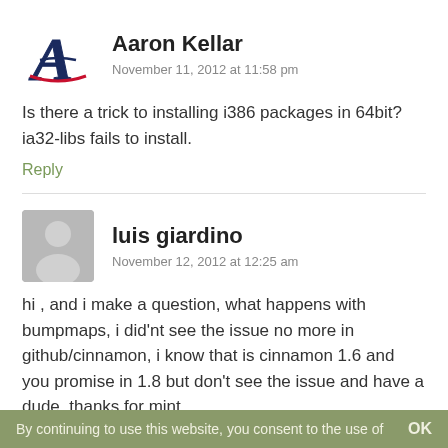[Figure (logo): Atlanta Braves logo - stylized A in navy/red]
Aaron Kellar
November 11, 2012 at 11:58 pm
Is there a trick to installing i386 packages in 64bit? ia32-libs fails to install.
Reply
[Figure (illustration): Generic gray avatar silhouette]
luis giardino
November 12, 2012 at 12:25 am
hi , and i make a question, what happens with bumpmaps, i did'nt see the issue no more in github/cinnamon, i know that is cinnamon 1.6 and you promise in 1.8 but don't see the issue and have a dude, thanks for mint ..
By continuing to use this website, you consent to the use of   OK